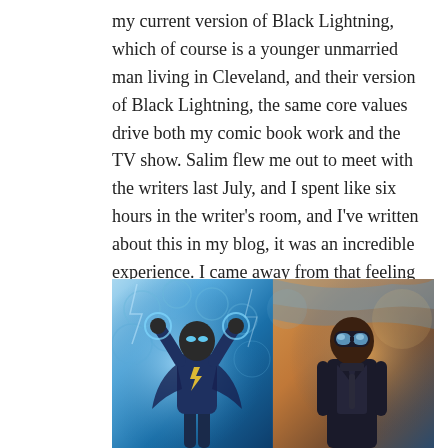my current version of Black Lightning, which of course is a younger unmarried man living in Cleveland, and their version of Black Lightning, the same core values drive both my comic book work and the TV show. Salim flew me out to meet with the writers last July, and I spent like six hours in the writer's room, and I've written about this in my blog, it was an incredible experience. I came away from that feeling really confident that this was going to be a great TV series, and a TV series that I could be proud of.
[Figure (photo): Split image showing two versions of Black Lightning: left side is comic book art depicting a superhero in a dark blue suit with lightning bolt emblem, glowing blue eyes, and electric energy surrounding him; right side is a live-action photo of an actor portraying Black Lightning in a dark suit with futuristic goggles, set against a dramatic sky background.]